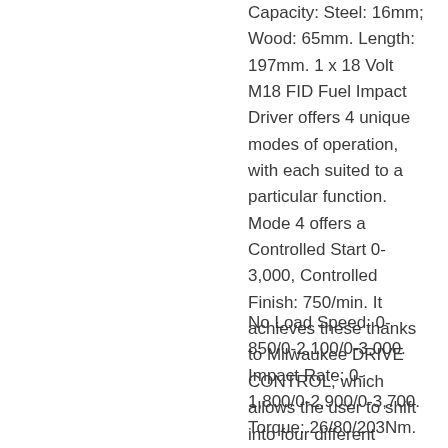Capacity: Steel: 16mm; Wood: 65mm. Length: 197mm. 1 x 18 Volt M18 FID Fuel Impact Driver offers 4 unique modes of operation, with each suited to a particular function. Mode 4 offers a Controlled Start 0-3,000, Controlled Finish: 750/min. It achieves these thanks to Milwaukee DRIVE CONTROL, which allows the user to shift into four different speed and torque settings to maximise application versatility.
No Load Speed: 0-850/0-2,100/0-3,000. Impact Rate: 0-1,800/0-2,900/0-3,700. Torque: 26/80/203Nm. 1 x 12-18 Volt M18 & M12 Rapid Charger that is up to 40% faster, reducing downtime and